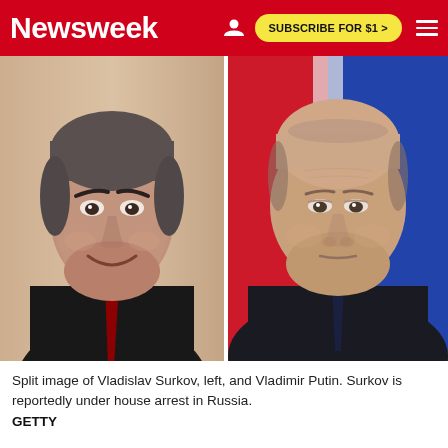Newsweek | SUBSCRIBE FOR $1 >
[Figure (photo): Split image of Vladislav Surkov on the left (smiling man in dark suit with red tie, gray hair) and Vladimir Putin on the right (serious expression, dark suit and tie, with Russian flag in background).]
Split image of Vladislav Surkov, left, and Vladimir Putin. Surkov is reportedly under house arrest in Russia.
GETTY